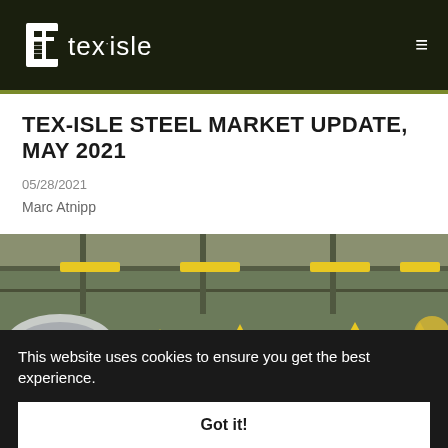tex·isle
TEX-ISLE STEEL MARKET UPDATE, MAY 2021
05/28/2021
Marc Atnipp
[Figure (photo): Industrial steel facility interior showing steel coils/pipes on conveyor with yellow crane arms overhead]
This website uses cookies to ensure you get the best experience.
Got it!